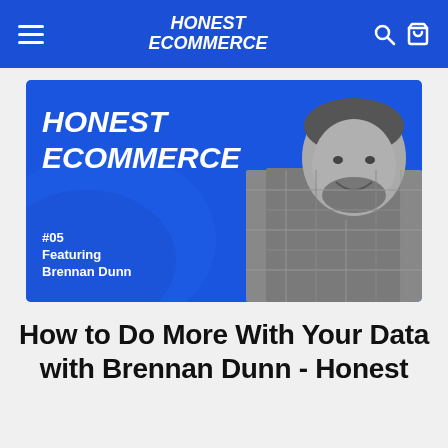HONEST ECOMMERCE
[Figure (illustration): Podcast episode thumbnail with blue background showing 'HONEST ECOMMERCE' logo text in white bold italic, a grayscale photo of a smiling bearded man in a plaid shirt on the right side, and episode info '#05 Featuring Brennan Dunn' in white text at bottom left.]
How to Do More With Your Data with Brennan Dunn - Honest